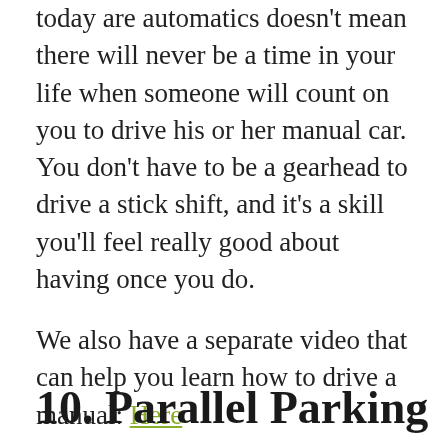The fact that the vast majority of vehicles today are automatics doesn't mean there will never be a time in your life when someone will count on you to drive his or her manual car. You don't have to be a gearhead to drive a stick shift, and it's a skill you'll feel really good about having once you do.
We also have a separate video that can help you learn how to drive a manual: Here
10. Parallel Parking